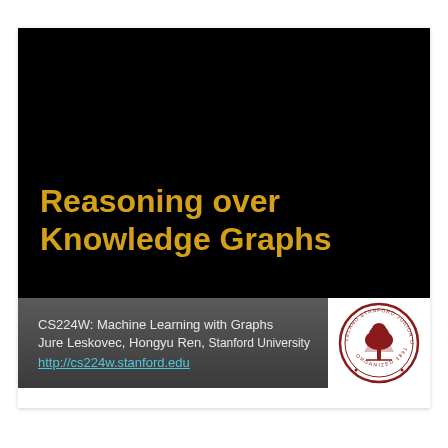Reasoning over Knowledge Graphs
CS224W: Machine Learning with Graphs
Jure Leskovec, Hongyu Ren, Stanford University
http://cs224w.stanford.edu